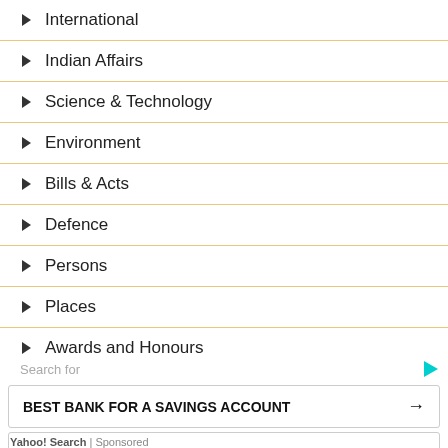International
Indian Affairs
Science & Technology
Environment
Bills & Acts
Defence
Persons
Places
Awards and Honours
Sports (partial)
Search for
BEST BANK FOR A SAVINGS ACCOUNT →
TOP 3 STOCKS TO BUY →
Yahoo! Search | Sponsored